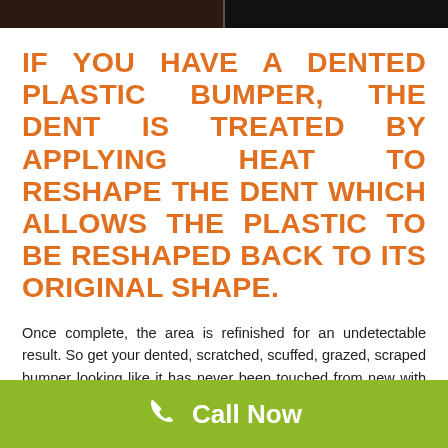[Figure (photo): Dark strip showing two photos side by side at the top of the page]
IF YOU HAVE A DENTED PLASTIC BUMPER, THE DENT IS TREATED BY APPLYING HEAT TO RESHAPE THE DENT WHICH ALLOWS THE PLASTIC TO BE RESHAPED BACK TO ITS ORIGINAL SHAPE.
Once complete, the area is refinished for an undetectable result. So get your dented, scratched, scuffed, grazed, scraped bumper looking like it has never been touched from new with our simple 3 step process. We are your mobile bumper repair service plus we can handle your door, panel, and other scratch repairs at your convenience.
[Figure (infographic): Green call-to-action bar with phone icon and 'Call Now' text in white]